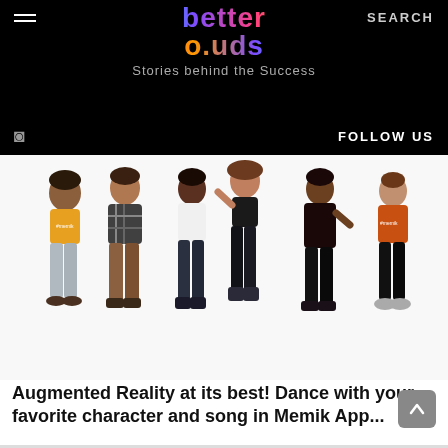better ouds — Stories behind the Success
SEARCH
FOLLOW US
[Figure (illustration): Six 3D animated avatars/characters standing in a row against a white background, featuring diverse characters in various outfits including a yellow top with grey pants, plaid shirt with brown pants, white tank top with dark jeans, dancing female character in dark outfit, dark shirt with black pants, and orange t-shirt with black pants. Some characters wear shirts with '#memik' branding.]
Augmented Reality at its best! Dance with your favorite character and song in Memik App...